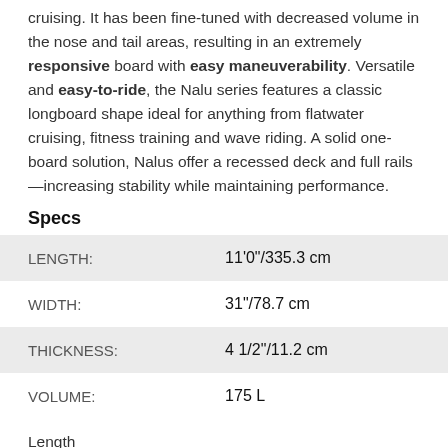cruising. It has been fine-tuned with decreased volume in the nose and tail areas, resulting in an extremely responsive board with easy maneuverability. Versatile and easy-to-ride, the Nalu series features a classic longboard shape ideal for anything from flatwater cruising, fitness training and wave riding. A solid one-board solution, Nalus offer a recessed deck and full rails—increasing stability while maintaining performance.
Specs
| Spec | Value |
| --- | --- |
| LENGTH: | 11'0"/335.3 cm |
| WIDTH: | 31"/78.7 cm |
| THICKNESS: | 4 1/2"/11.2 cm |
| VOLUME: | 175 L |
Length
11'0"